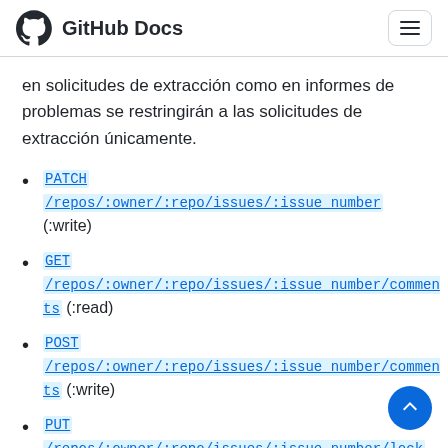GitHub Docs
en solicitudes de extracción como en informes de problemas se restringirán a las solicitudes de extracción únicamente.
PATCH /repos/:owner/:repo/issues/:issue_number (:write)
GET /repos/:owner/:repo/issues/:issue_number/comments (:read)
POST /repos/:owner/:repo/issues/:issue_number/comments (:write)
PUT /repos/:owner/:repo/issues/:issue_number/lock (:write)